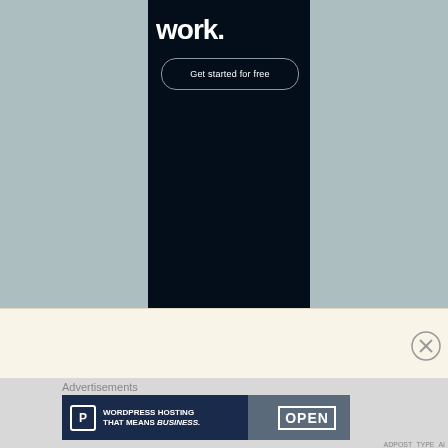[Figure (screenshot): Dark navy advertisement panel on a grayish-blue background showing the text 'work.' in bold white with a 'Get started for free' call-to-action button with rounded border]
[Figure (screenshot): WordPress Hosting advertisement banner reading 'WORDPRESS HOSTING THAT MEANS BUSINESS.' with a P icon on the left and an OPEN sign photo on the right]
Advertisements